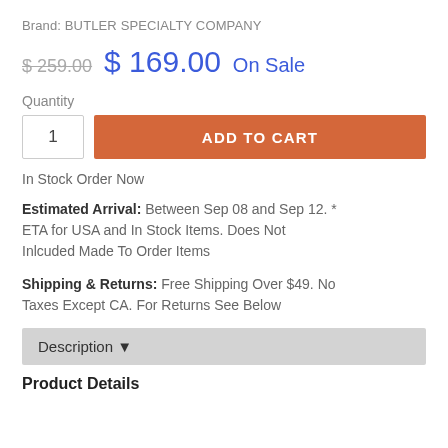Brand: BUTLER SPECIALTY COMPANY
$ 259.00  $ 169.00  On Sale
Quantity
1
ADD TO CART
In Stock Order Now
Estimated Arrival: Between Sep 08 and Sep 12. * ETA for USA and In Stock Items. Does Not Inlcuded Made To Order Items
Shipping & Returns: Free Shipping Over $49. No Taxes Except CA. For Returns See Below
Description ▼
Product Details